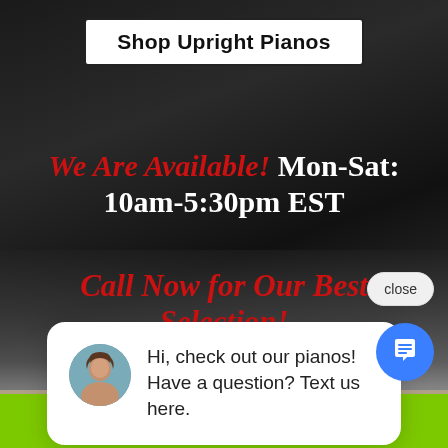Shop Upright Pianos
We Are Available! Mon-Sat: 10am-5:30pm EST
Call Now for Our Best Selection!
[Figure (screenshot): Close button overlay on website]
Hi, check out our pianos! Have a question? Text us here.
[Figure (photo): Piano store interior with grand pianos]
Call Now!